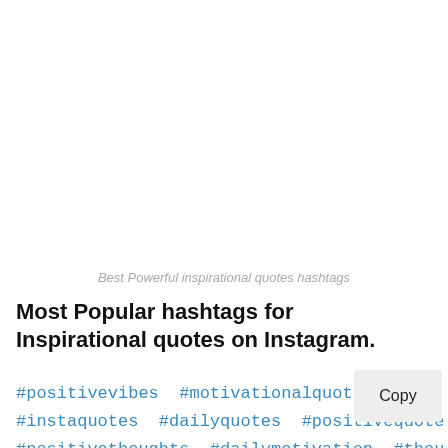Best Powerful inspirational quotes hashtags
Most Popular hashtags for Inspirational quotes on Instagram.
#positivevibes #motivationalquote #instaquotes #dailyquotes #positivequote #positivethoughts #dailymotivation #thou